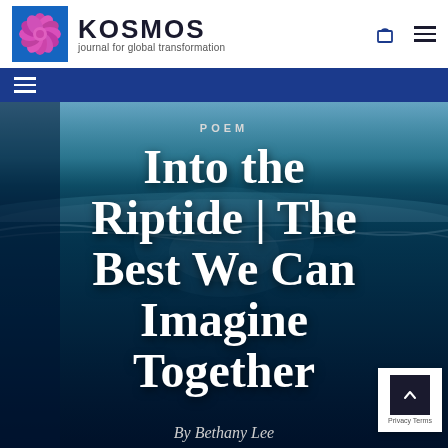KOSMOS journal for global transformation
[Figure (screenshot): Kosmos journal logo: purple dahlia flower in a blue square next to the word KOSMOS in large bold dark letters with tagline 'journal for global transformation']
POEM
Into the Riptide | The Best We Can Imagine Together
By Bethany Lee